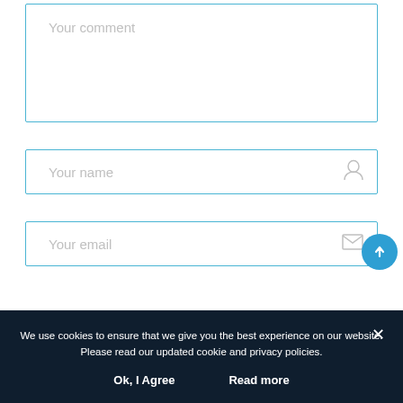[Figure (screenshot): Comment form textarea with placeholder 'Your comment', blue border]
[Figure (screenshot): Name input field with placeholder 'Your name' and person icon, blue border]
[Figure (screenshot): Email input field with placeholder 'Your email' and envelope icon, blue border]
We use cookies to ensure that we give you the best experience on our website. Please read our updated cookie and privacy policies.
Ok, I Agree
Read more